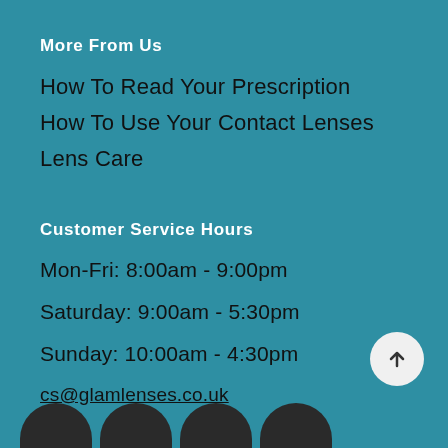More From Us
How To Read Your Prescription
How To Use Your Contact Lenses
Lens Care
Customer Service Hours
Mon-Fri: 8:00am - 9:00pm
Saturday: 9:00am - 5:30pm
Sunday: 10:00am - 4:30pm
cs@glamlenses.co.uk
[Figure (illustration): Row of four dark rounded social media icon buttons at the bottom of the page, partially visible]